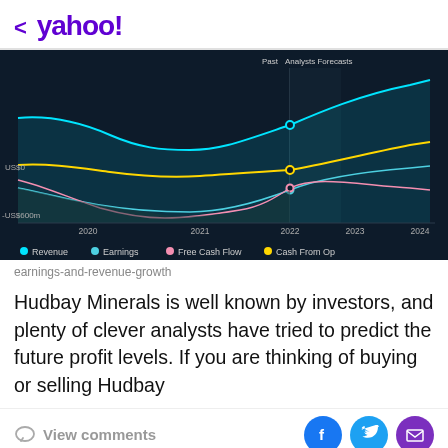< yahoo!
[Figure (line-chart): Multi-line area chart showing Revenue, Earnings, Free Cash Flow, and Cash From Op for Hudbay Minerals from 2019 to 2024, with analyst forecasts after 2022. Dark background with cyan, teal, pink/red, and yellow/gold lines.]
earnings-and-revenue-growth
Hudbay Minerals is well known by investors, and plenty of clever analysts have tried to predict the future profit levels. If you are thinking of buying or selling Hudbay
View comments